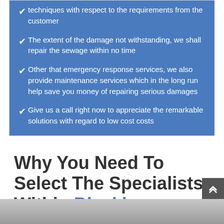techniques with respect to the requirements from the customer
The extent of the damage not withstanding, we shall repair the sewage within no time
Other that emergency response services, we also provide maintenance services which in the long run help save you money of repairing serious damages
Give us a call right now to appreciate the remarkable solutions with regard to low cost costs
Why You Need To Select The Specialists Within Blackburn
[Figure (photo): Photo strip at bottom of page showing people]